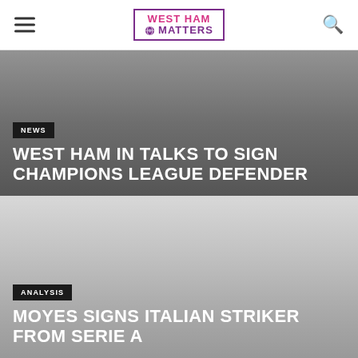West Ham Matters
[Figure (other): Article card with dark grey gradient background. News tag label and headline: WEST HAM IN TALKS TO SIGN CHAMPIONS LEAGUE DEFENDER]
NEWS
WEST HAM IN TALKS TO SIGN CHAMPIONS LEAGUE DEFENDER
[Figure (other): Article card with light grey gradient background. Analysis tag label and headline: MOYES SIGNS ITALIAN STRIKER FROM SERIE A]
ANALYSIS
MOYES SIGNS ITALIAN STRIKER FROM SERIE A